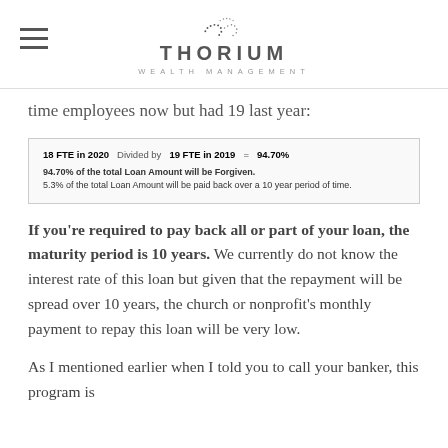Thorium Wealth Management
time employees now but had 19 last year:
[Figure (infographic): Calculation box showing: 18 FTE in 2020 Divided by 19 FTE in 2019 = 94.70%. 94.70% of the total Loan Amount will be Forgiven. 5.3% of the total Loan Amount will be paid back over a 10 year period of time.]
If you're required to pay back all or part of your loan, the maturity period is 10 years. We currently do not know the interest rate of this loan but given that the repayment will be spread over 10 years, the church or nonprofit's monthly payment to repay this loan will be very low.
As I mentioned earlier when I told you to call your banker, this program is